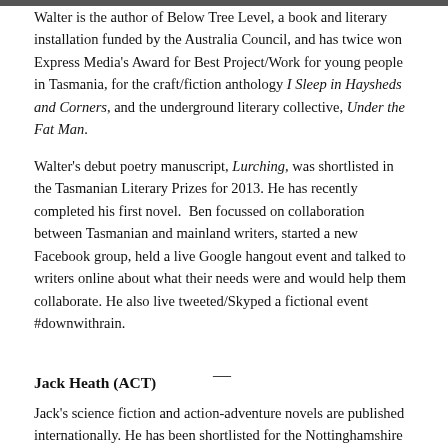Walter is the author of Below Tree Level, a book and literary installation funded by the Australia Council, and has twice won Express Media's Award for Best Project/Work for young people in Tasmania, for the craft/fiction anthology I Sleep in Haysheds and Corners, and the underground literary collective, Under the Fat Man.
Walter's debut poetry manuscript, Lurching, was shortlisted in the Tasmanian Literary Prizes for 2013. He has recently completed his first novel.  Ben focussed on collaboration between Tasmanian and mainland writers, started a new Facebook group, held a live Google hangout event and talked to writers online about what their needs were and would help them collaborate. He also live tweeted/Skyped a fictional event #downwithrain.
Jack Heath (ACT)
Jack's science fiction and action-adventure novels are published internationally. He has been shortlisted for the Nottinghamshire Brilliant Book Award, two Aurealis Awards,